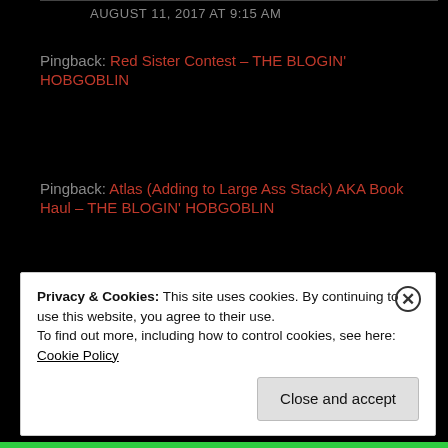Pingback: Red Sister Contest – THE BLOGIN' HOBGOBLIN
Pingback: Atlas (Adding to Large Ass Stack) AKA Book Haul – THE BLOGIN' HOBGOBLIN
Jesika
AUGUST 11, 2017 AT 9:15 AM
Privacy & Cookies: This site uses cookies. By continuing to use this website, you agree to their use.
To find out more, including how to control cookies, see here: Cookie Policy